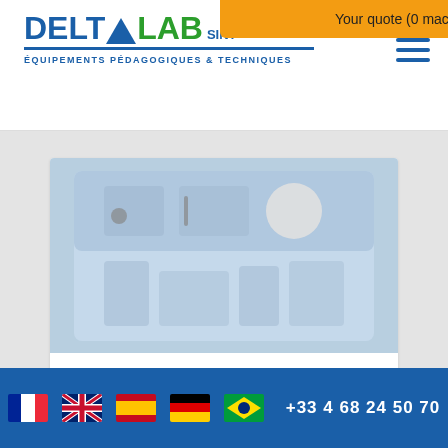Your quote (0 machine)
[Figure (logo): Delta Lab logo with triangle symbol and subtitle ÉQUIPEMENTS PÉDAGOGIQUES & TECHNIQUES]
[Figure (photo): Open briefcase containing power generator study components on blue foam background]
Study case of a power generator
PHP15
Read more
[Figure (photo): Partial image of a mechanical device on white background]
+33 4 68 24 50 70